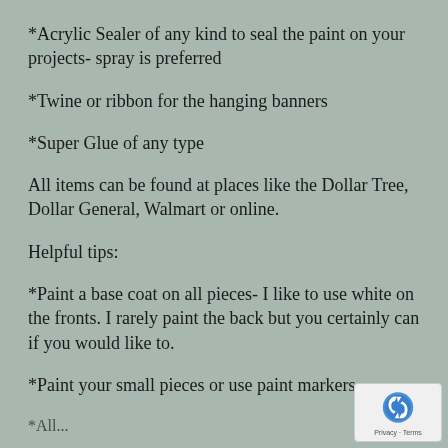*Acrylic Sealer of any kind to seal the paint on your projects- spray is preferred
*Twine or ribbon for the hanging banners
*Super Glue of any type
All items can be found at places like the Dollar Tree, Dollar General, Walmart or online.
Helpful tips:
*Paint a base coat on all pieces- I like to use white on the fronts. I rarely paint the back but you certainly can if you would like to.
*Paint your small pieces or use paint markers
*All...